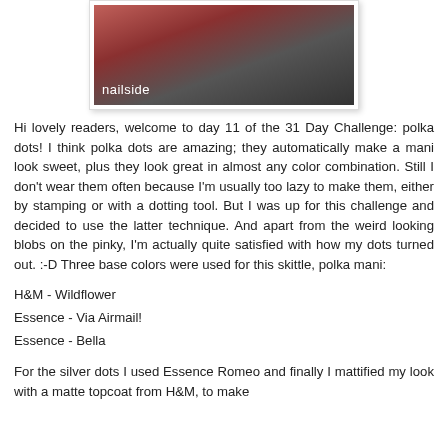[Figure (photo): Close-up photo of a hand with painted fingernails showing polka dot nail art, with 'nailside' watermark text overlay in white at the bottom left]
Hi lovely readers, welcome to day 11 of the 31 Day Challenge: polka dots! I think polka dots are amazing; they automatically make a mani look sweet, plus they look great in almost any color combination. Still I don't wear them often because I'm usually too lazy to make them, either by stamping or with a dotting tool. But I was up for this challenge and decided to use the latter technique. And apart from the weird looking blobs on the pinky, I'm actually quite satisfied with how my dots turned out. :-D Three base colors were used for this skittle, polka mani:
H&M - Wildflower
Essence - Via Airmail!
Essence - Bella
For the silver dots I used Essence Romeo and finally I mattified my look with a matte topcoat from H&M, to make everything more buttery smooth than my nails are giving.